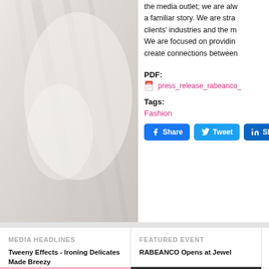[Figure (photo): Blurred close-up photo of white fabric or satin material with diagonal lines/shadows, occupying the left portion of the upper section.]
the media outlet; we are alw a familiar story. We are stra clients' industries and the m We are focused on providin create connections between
PDF:
press_release_rabeanco_
Tags:
Fashion
Share  Tweet  Share
MEDIA HEADLINES
FEATURED EVENT
Tweeny Effects - Ironing Delicates Made Breezy
RABEANCO Opens at Jewel
[Figure (photo): Pink background with blue iron illustration - thumbnail for Tweeny Effects article.]
[Figure (photo): Dark interior or product photo - thumbnail for RABEANCO Opens at Jewel article.]